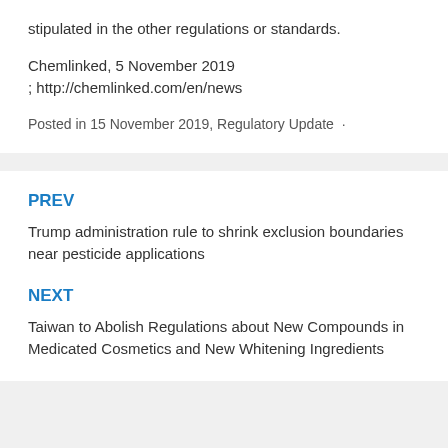stipulated in the other regulations or standards.
Chemlinked, 5 November 2019
; http://chemlinked.com/en/news
Posted in 15 November 2019, Regulatory Update ·
PREV
Trump administration rule to shrink exclusion boundaries near pesticide applications
NEXT
Taiwan to Abolish Regulations about New Compounds in Medicated Cosmetics and New Whitening Ingredients